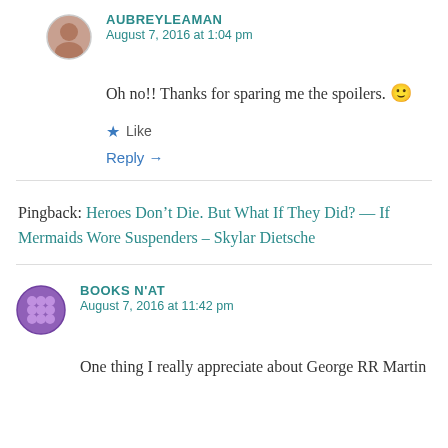[Figure (photo): Circular avatar photo of Audrey Leaman, a person with dark hair]
AUBREYLEAMAN
August 7, 2016 at 1:04 pm
Oh no!! Thanks for sparing me the spoilers. 🙂
★ Like
Reply →
Pingback: Heroes Don't Die. But What If They Did? — If Mermaids Wore Suspenders – Skylar Dietsche
[Figure (illustration): Circular purple avatar icon with a grid/cross pattern for Books N'at]
BOOKS N'AT
August 7, 2016 at 11:42 pm
One thing I really appreciate about George RR Martin